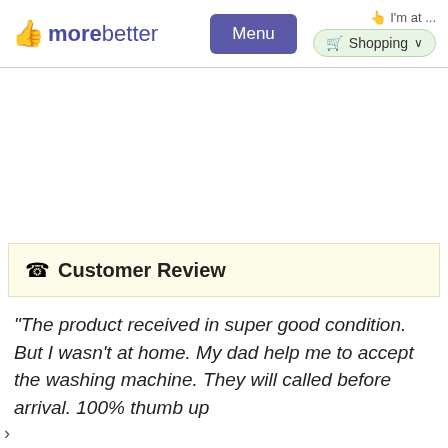morebetter | Menu | I'm at ... | Shopping
☎ Customer Review
"The product received in super good condition. But I wasn't at home. My dad help me to accept the washing machine. They will called before arrival. 100% thumb up